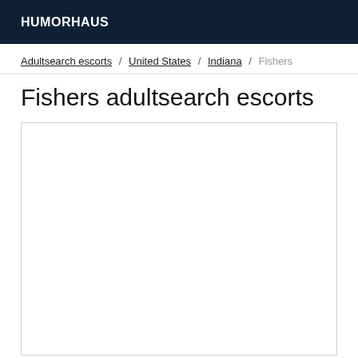HUMORHAUS
Adultsearch escorts / United States / Indiana / Fishers
Fishers adultsearch escorts
[Figure (other): Empty white content box with border]